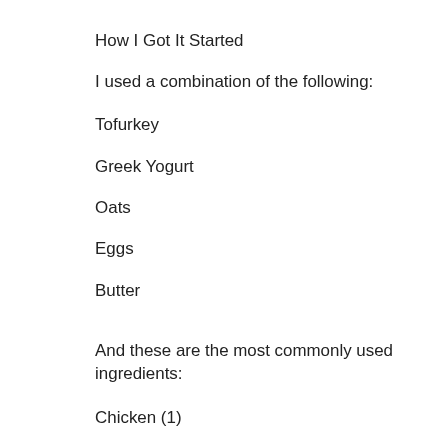How I Got It Started
I used a combination of the following:
Tofurkey
Greek Yogurt
Oats
Eggs
Butter
And these are the most commonly used ingredients:
Chicken (1)
Chicken (1)